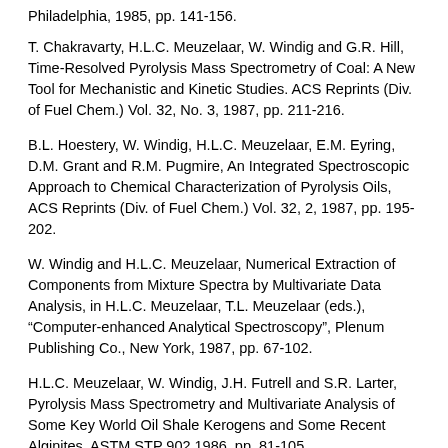Philadelphia, 1985, pp. 141-156.
T. Chakravarty, H.L.C. Meuzelaar, W. Windig and G.R. Hill, Time-Resolved Pyrolysis Mass Spectrometry of Coal: A New Tool for Mechanistic and Kinetic Studies. ACS Reprints (Div. of Fuel Chem.) Vol. 32, No. 3, 1987, pp. 211-216.
B.L. Hoestery, W. Windig, H.L.C. Meuzelaar, E.M. Eyring, D.M. Grant and R.M. Pugmire, An Integrated Spectroscopic Approach to Chemical Characterization of Pyrolysis Oils, ACS Reprints (Div. of Fuel Chem.) Vol. 32, 2, 1987, pp. 195-202.
W. Windig and H.L.C. Meuzelaar, Numerical Extraction of Components from Mixture Spectra by Multivariate Data Analysis, in H.L.C. Meuzelaar, T.L. Meuzelaar (eds.), “Computer-enhanced Analytical Spectroscopy”, Plenum Publishing Co., New York, 1987, pp. 67-102.
H.L.C. Meuzelaar, W. Windig, J.H. Futrell and S.R. Larter, Pyrolysis Mass Spectrometry and Multivariate Analysis of Some Key World Oil Shale Kerogens and Some Recent Alginites, ASTM STP 902 1986, pp. 81-105.